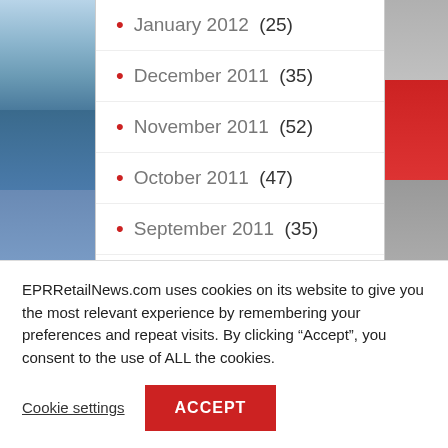January 2012 (25)
December 2011 (35)
November 2011 (52)
October 2011 (47)
September 2011 (35)
August 2011 (43)
July 2011 (41)
June 2011 (33)
EPRRetailNews.com uses cookies on its website to give you the most relevant experience by remembering your preferences and repeat visits. By clicking “Accept”, you consent to the use of ALL the cookies.
Cookie settings
ACCEPT